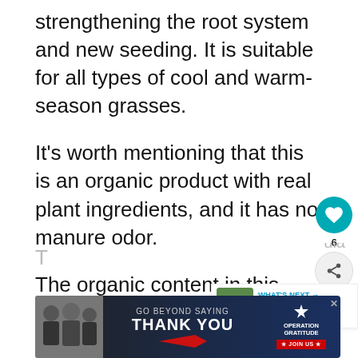strengthening the root system and new seeding. It is suitable for all types of cool and warm-season grasses.
It's worth mentioning that this is an organic product with real plant ingredients, and it has no manure odor.
The organic content in this lawn fertilizer improves the microbial activity in the lawn soil.
[Figure (screenshot): Advertisement banner: 'GO BEYOND SAYING THANK YOU' with Operation Gratitude logo and JOIN US button. People in uniform on left side.]